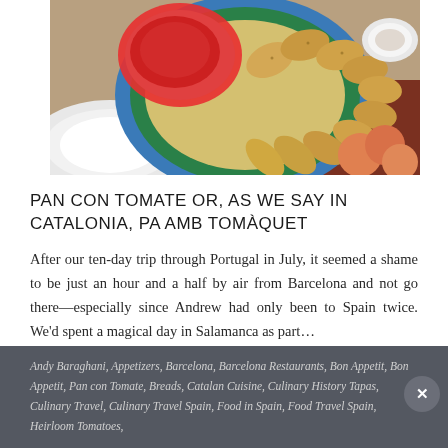[Figure (photo): Overhead photo of bread/crackers arranged on a colorful plate with a bowl of red tomato sauce and peaches/tomatoes on the side]
PAN CON TOMATE OR, AS WE SAY IN CATALONIA, PA AMB TOMÀQUET
After our ten-day trip through Portugal in July, it seemed a shame to be just an hour and a half by air from Barcelona and not go there—especially since Andrew had only been to Spain twice. We'd spent a magical day in Salamanca as part…
Andy Baraghani, Appetizers, Barcelona, Barcelona Restaurants, Bon Appetit, Bon Appetit, Pan con Tomate, Breads, Catalan Cuisine, Culinary History Tapas, Culinary Travel, Culinary Travel Spain, Food in Spain, Food Travel Spain, Heirloom Tomatoes,